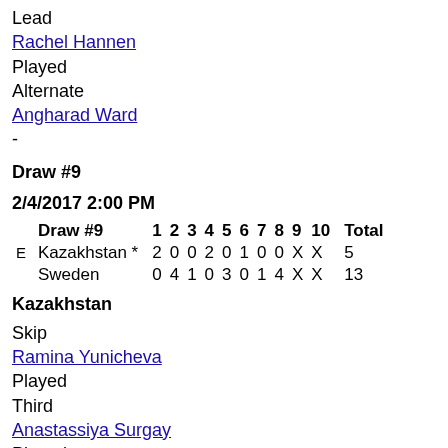Lead
Rachel Hannen
Played
Alternate
Angharad Ward
-
Draw #9
2/4/2017 2:00 PM
| Draw #9 | 1 | 2 | 3 | 4 | 5 | 6 | 7 | 8 | 9 | 10 | Total |
| --- | --- | --- | --- | --- | --- | --- | --- | --- | --- | --- | --- |
| E Kazakhstan * | 2 | 0 | 0 | 2 | 0 | 1 | 0 | 0 | X | X | 5 |
| Sweden | 0 | 4 | 1 | 0 | 3 | 0 | 1 | 4 | X | X | 13 |
Kazakhstan
Skip
Ramina Yunicheva
Played
Third
Anastassiya Surgay
Played
Second